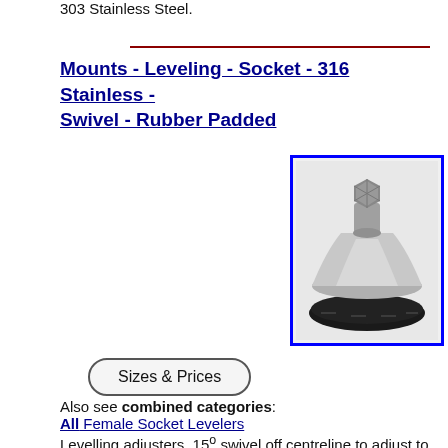303 Stainless Steel.
Mounts - Leveling - Socket - 316 Stainless - Swivel - Rubber Padded
[Figure (photo): Product photo of a stainless steel leveling mount with a swivel socket and black rubber padded base, shown on white background inside a blue border.]
Sizes & Prices
Also see combined categories:
All Female Socket Levelers
Levelling adjusters. 15° swivel off centreline to adjust to uneven surfaces and level machine tools, electronic